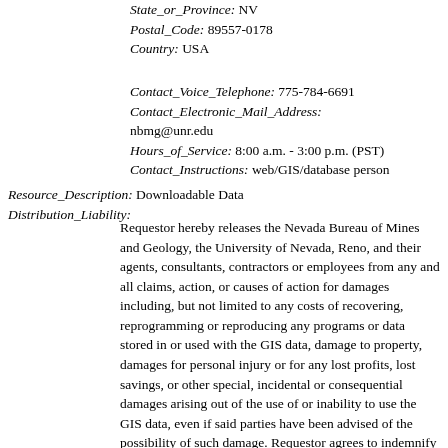State_or_Province: NV
Postal_Code: 89557-0178
Country: USA
Contact_Voice_Telephone: 775-784-6691
Contact_Electronic_Mail_Address: nbmg@unr.edu
Hours_of_Service: 8:00 a.m. - 3:00 p.m. (PST)
Contact_Instructions: web/GIS/database person
Resource_Description: Downloadable Data
Distribution_Liability:
Requestor hereby releases the Nevada Bureau of Mines and Geology, the University of Nevada, Reno, and their agents, consultants, contractors or employees from any and all claims, action, or causes of action for damages including, but not limited to any costs of recovering, reprogramming or reproducing any programs or data stored in or used with the GIS data, damage to property, damages for personal injury or for any lost profits, lost savings, or other special, incidental or consequential damages arising out of the use of or inability to use the GIS data, even if said parties have been advised of the possibility of such damage. Requestor agrees to indemnify and hold